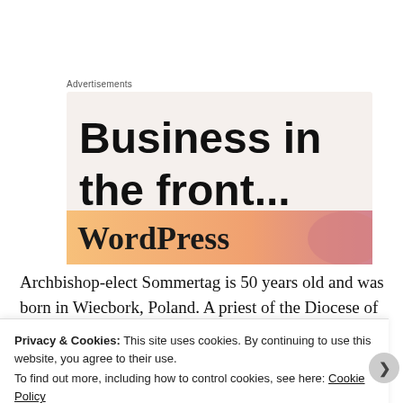Advertisements
[Figure (screenshot): Advertisement banner showing 'Business in the front...' text on a light beige background, with a gradient orange-pink banner at the bottom showing 'WordPress' text]
Archbishop-elect Sommertag is 50 years old and was born in Wiecbork, Poland. A priest of the Diocese of
Privacy & Cookies: This site uses cookies. By continuing to use this website, you agree to their use.
To find out more, including how to control cookies, see here: Cookie Policy
Close and accept